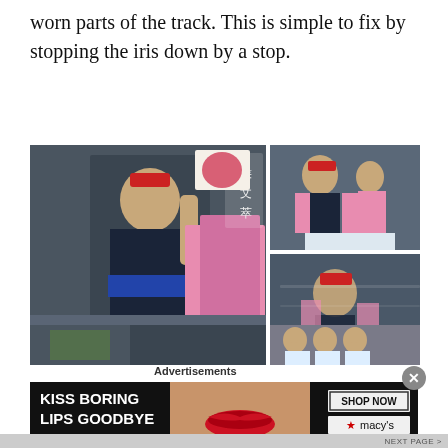worn parts of the track. This is simple to fix by stopping the iris down by a stop.
[Figure (photo): Large photo collage of Japanese festival dancers in traditional dark blue costumes with colorful accents, performing energetic dance moves. Left: large photo of a solo female dancer in foreground with crowd behind. Top right: smaller photo of dancers in formation. Middle right: dancers with motion blur. Bottom right: group of dancers raising hands.]
Advertisements
[Figure (illustration): Advertisement banner for Macy's lip product. Dark background with woman's face showing red lips. Text reads 'KISS BORING LIPS GOODBYE'. Right side shows 'SHOP NOW' button and Macy's logo with red star.]